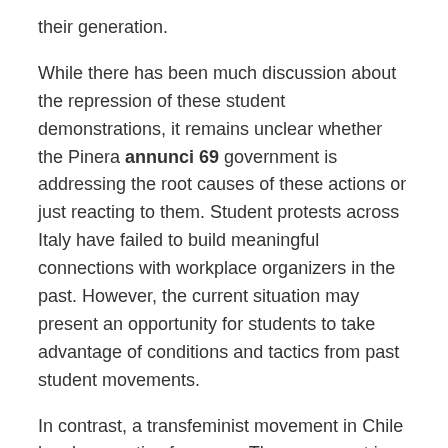their generation.
While there has been much discussion about the repression of these student demonstrations, it remains unclear whether the Pinera annunci 69 government is addressing the root causes of these actions or just reacting to them. Student protests across Italy have failed to build meaningful connections with workplace organizers in the past. However, the current situation may present an opportunity for students to take advantage of conditions and tactics from past student movements.
In contrast, a transfeminist movement in Chile has been active for years. The movement is anti-patriarchal, feminist, and capitalist, calling for destroying oppressive structures. It aims to break down stereotypes about gender and race and to create alternative spaces for socialization. However,